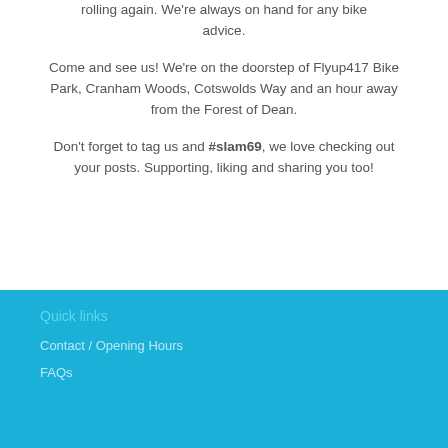rolling again. We're always on hand for any bike advice.
Come and see us! We're on the doorstep of Flyup417 Bike Park, Cranham Woods, Cotswolds Way and an hour away from the Forest of Dean.
Don't forget to tag us and #slam69, we love checking out your posts. Supporting, liking and sharing you too!
Quick links
Contact / Opening Hours
FAQs